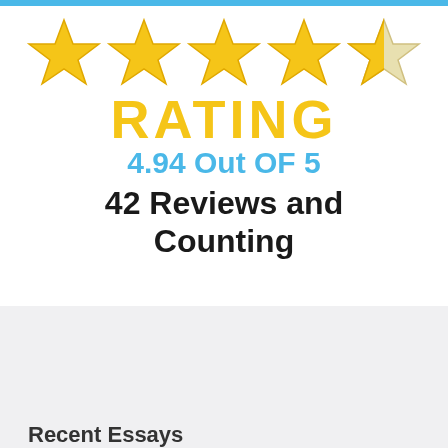[Figure (infographic): Five stars rating graphic: four full gold stars and one half/empty gold star, with text 'RATING', '4.94 Out OF 5', and '42 Reviews and Counting']
Recent Essays